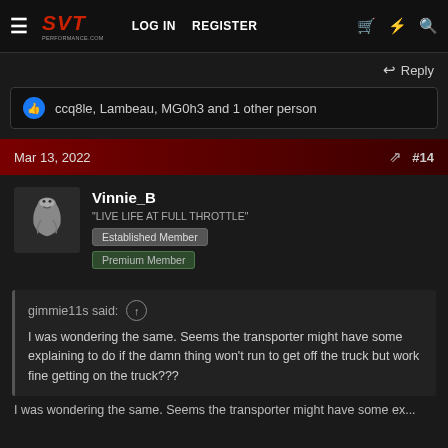SVT Performance Forum — LOG IN  REGISTER
Reply
ccq8le, Lambeau, MG0h3 and 1 other person
Mar 13, 2022  #14
Vinnie_B
"LIVE LIFE AT FULL THROTTLE"  Established Member  Premium Member
gimmie11s said:
I was wondering the same. Seems the transporter might have some explaining to do if the damn thing won't run to get off the truck but work fine getting on the truck???
I was wondering the same. Seems the transporter might have some explaining to do if the damn thing won't run to get off the truck but work fine getting on the truck???